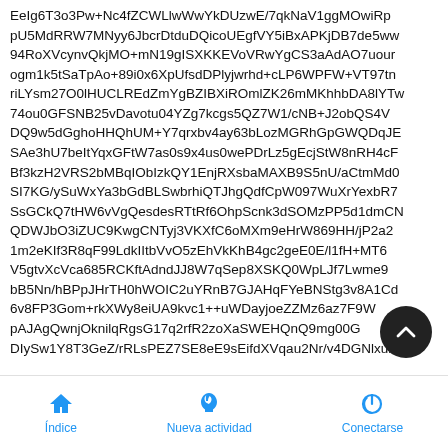EeIg6T3o3Pw+Nc4fZCWLlwWwYkDUzwE/7qkNaV1ggMOwiRp pU5MdRRW7MNyy6JbcrDtduDQicoUEgfVY5iBxAPKjDB7de5ww 94RoXVcynvQkjMO+mN19gISXKKEVoVRwYgCS3aAdAO7uour ogm1k5tSaTpAo+89i0x6XpUfsdDPlyjwrhd+cLP6WPFW+VT97tn riLYsm27O0lHUCLREdZmYgBZIBXiROmlZK26mMKhhbDA8lYTw 74ou0GFSNB25vDavotu04YZg7kcgs5QZ7W1/cNB+J2obQS4V DQ9w5dGghoHHQhUM+Y7qrxbv4ay63bLozMGRhGpGWQDqJE SAe3hU7beItYqxGFtW7as0s9x4us0wePDrLz5gEcjStW8nRH4cF Bf3kzH2VRS2bMBqIObIzkQY1EnjRXsbaMAXB9S5nU/aCtmMd0 SI7KG/ySuWxYa3bGdBLSwbrhiQTJhgQdfCpW097WuXrYexbR7 SsGCkQ7tHW6vVgQesdesRTtRf6OhpScnk3dSOMzPP5d1dmCN QDWJbO3iZUC9KwgCNTyj3VKXfC6oMXm9eHrW869HH/jP2a2 1m2eKIf3R8qF99LdkIItbVvO5zEhVkKhB4gc2geE0E/l1fH+MT6 V5gtvXcVca685RCKftAdndJJ8W7qSep8XSKQ0WpLJf7Lwme9 bB5Nn/hBPpJHrTH0hWOIC2uYRnB7GJAHqFYeBNStg3v8A1Cd 6v8FP3Gom+rkXWy8eiUA9kvc1++uWDayjoeZZMz6az7F9W pAJAgQwnjOknilqRgsG17q2rfR2zoXaSWEHQnQ9mg00G DIySw1Y8T3GeZ/rRLsPEZ7SE8eE9sEifdXVqau2Nr/v4DGNlxubs
[Figure (other): Floating action button (FAB) — dark circular button with upward chevron arrow, positioned at bottom-right of content area]
Índice   Nueva actividad   Conectarse